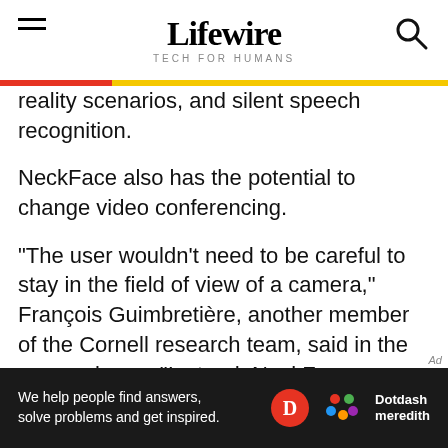Lifewire — TECH FOR HUMANS
reality scenarios, and silent speech recognition.
NeckFace also has the potential to change video conferencing.
“The user wouldn’t need to be careful to stay in the field of view of a camera,” François Guimbretière, another member of the Cornell research team, said in the news release. “Instead, NeckFace can recreate the perfect headshot as we move around in a classroom, or even walk outside to share a walk with a distant friend.”
We help people find answers, solve problems and get inspired. Dotdash meredith